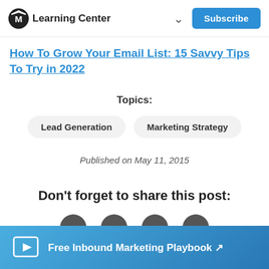Learning Center
How To Grow Your Email List: 15 Savvy Tips To Try in 2022
Topics:
Lead Generation
Marketing Strategy
Published on May 11, 2015
Don't forget to share this post:
[Figure (other): Four dark circular social media share icon buttons]
Free Inbound Marketing Playbook ↗